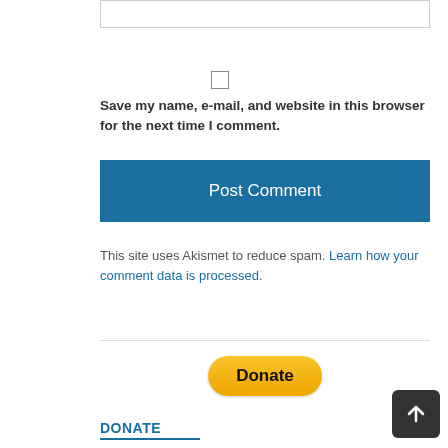[Figure (screenshot): Input text box at top of page]
[Figure (screenshot): Checkbox for saving name, email, and website in browser]
Save my name, e-mail, and website in this browser for the next time I comment.
[Figure (screenshot): Post Comment button, blue background]
This site uses Akismet to reduce spam. Learn how your comment data is processed.
[Figure (screenshot): PayPal Donate button, yellow rounded rectangle]
DONATE
[Figure (screenshot): Scroll to top button, dark grey square with upward arrow]